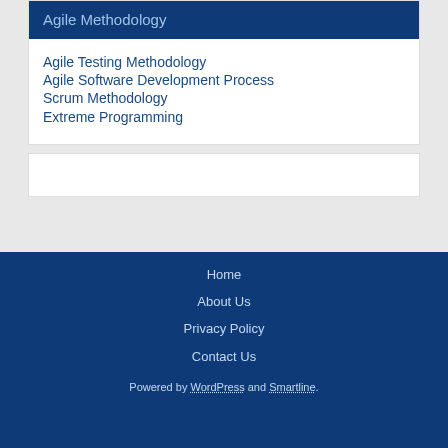Agile Methodology
Agile Testing Methodology
Agile Software Development Process
Scrum Methodology
Extreme Programming
Home
About Us
Privacy Policy
Contact Us
Powered by WordPress and Smartline.